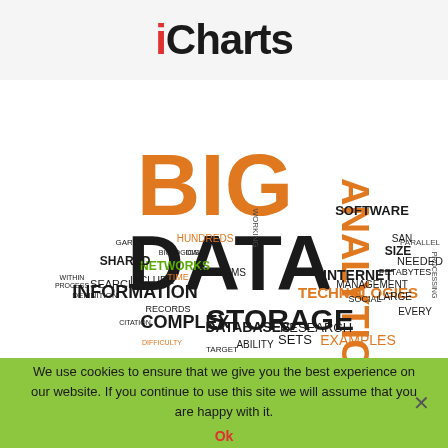iCharts
[Figure (infographic): Word cloud centered on 'BIG DATA' with related terms like Analytics, Technologies, Information, Storage, Networks, Internet, Research, Databases, Complex, Systems, Sets, Examples, Search, Shared, Records, Management, Social, Large, Every, Needed, Size, Petabytes, Software, SAN, Parallel, Processing, etc. in various sizes and colors (orange, dark gray, green, red).]
We use cookies to ensure that we give you the best experience on our website. If you continue to use this site we will assume that you are happy with it.
Ok